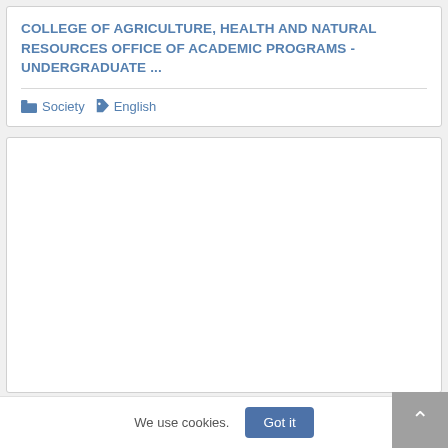COLLEGE OF AGRICULTURE, HEALTH AND NATURAL RESOURCES OFFICE OF ACADEMIC PROGRAMS - UNDERGRADUATE ...
Society   English
[Figure (other): Empty white card placeholder region]
We use cookies.